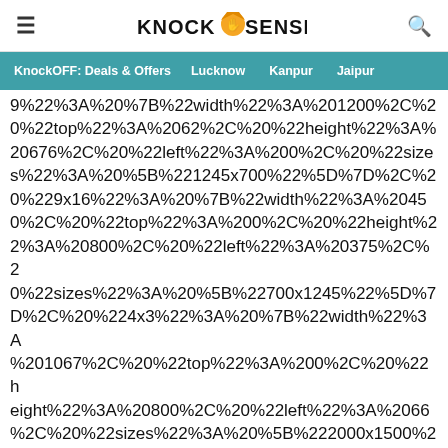≡  KNOCKSENSE  🔍
KnockOFF: Deals & Offers   Lucknow   Kanpur   Jaipur
9%22%3A%20%7B%22width%22%3A%201200%2C%20%22top%22%3A%2062%2C%20%22height%22%3A%2020676%2C%20%22left%22%3A%200%2C%20%22sizes%22%3A%20%5B%221245x700%22%5D%7D%2C%20%229x16%22%3A%20%7B%22width%22%3A%2045 0%2C%20%22top%22%3A%200%2C%20%22height%22%3A%22%3A%20800%2C%20%22left%22%3A%20375%2C%20%22sizes%22%3A%20%5B%22700x1245%22%5D%7D%2C%20%224x3%22%3A%20%7B%22width%22%3A%201067%2C%20%22top%22%3A%200%2C%20%22height%22%3A%20800%2C%20%22left%22%3A%2066%2C%20%22sizes%22%3A%20%5B%222000x1500%22%2C%20%221000x750%22%5D%7D%2C%20%22600